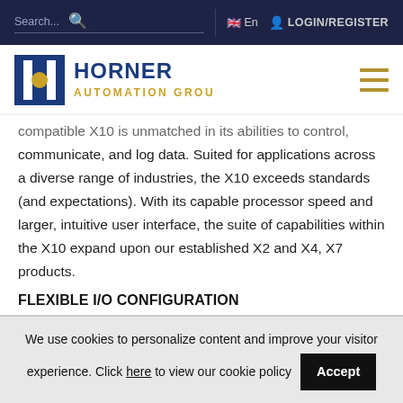Search... [search icon] | [UK flag] En [user icon] LOGIN/REGISTER
[Figure (logo): Horner Automation Group logo — blue square with gold circle and white lines, text HORNER AUTOMATION GROUP in navy and gold]
compatible X10 is unmatched in its abilities to control, communicate, and log data. Suited for applications across a diverse range of industries, the X10 exceeds standards (and expectations). With its capable processor speed and larger, intuitive user interface, the suite of capabilities within the X10 expand upon our established X2 and X4, X7 products.
FLEXIBLE I/O CONFIGURATION
In an effort to make the latest Horner OCS controllers as widely applicable as possible, the X10 has been designed with a
We use cookies to personalize content and improve your visitor experience. Click here to view our cookie policy  Accept